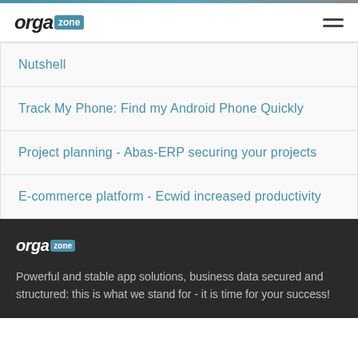[Figure (logo): Orgazone logo with 'orga' in bold italic and 'zone' in a teal box]
Nutshell
Track My Phone: Find my Android Phone Quickly
Project planning - Abas-ERP securing your projects
E-commerce platform - Ecwid increased productivity
[Figure (logo): Orgazone footer logo, white text on dark background]
Powerful and stable app solutions, business data secured and structured: this is what we stand for - it is time for your success!